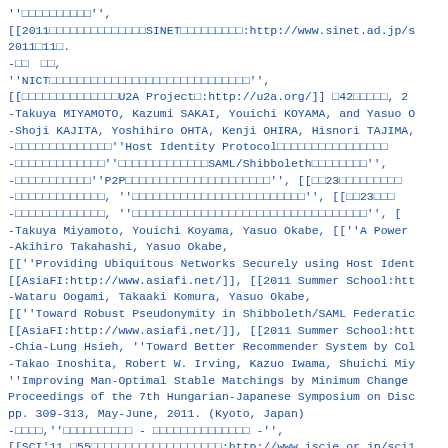''□□□□□□□□□□'',
[[2011□□□□□□□□□□□□□□SINET□□□□□□□□□:http://www.sinet.ad.jp/s
2011□11□.
-□□　□□,
''NICT□□□□□□□□□□□□□□□□□□□□□□□□□□□□□'',
[[□□□□□□□□□□□□□□U2A Project□:http://u2a.org/]] □42□□□□□, 2
-Takuya MIYAMOTO, Kazumi SAKAI, Youichi KOYAMA, and Yasuo O
-Shoji KAJITA, Yoshihiro OHTA, Kenji OHIRA, Hisnori TAJIMA,
-□□□□□□□□□□□□□□''Host Identity Protocol□□□□□□□□□□□□□□□□
-□□□□□□□□□□□□□''□□□□□□□□□□□□□SAML/Shibboleth□□□□□□□□'',
-□□□□□□□□□□□''P2P□□□□□□□□□□□□□□□□□□□□□'', [[□□23□□□□□□□□□
-□□□□□□□□□□□□□, ''□□□□□□□□□□□□□□□□□□□□□□□□□'', [[□□23□□□
-□□□□□□□□□□□□□, ''□□□□□□□□□□□□□□□□□□□□□□□□□□□□□□□□□□'', [
-Takuya Miyamoto, Youichi Koyama, Yasuo Okabe, [[''A Power
-Akihiro Takahashi, Yasuo Okabe,
[[''Providing Ubiquitous Networks Securely using Host Ident
[[AsiaFI:http://www.asiafi.net/]], [[2011 Summer School:htt
-Wataru Oogami, Takaaki Komura, Yasuo Okabe,
[[''Toward Robust Pseudonymity in Shibboleth/SAML Federatic
[[AsiaFI:http://www.asiafi.net/]], [[2011 Summer School:htt
-Chia-Lung Hsieh, ''Toward Better Recommender System by Col
-Takao Inoshita, Robert W. Irving, Kazuo Iwama, Shuichi Miy
''Improving Man-Optimal Stable Matchings by Minimum Change
Proceedings of the 7th Hungarian-Japanese Symposium on Disc
pp. 309-313, May-June, 2011. (Kyoto, Japan)
-□□□□,''□□□□□□□□□□ - □□□□□□□□□□□□□□ -'',
[[SCI'11 □55□□□□□□□□□□□□□□□□□□□:http://www.iscie.or.jp/sci1
**□□□□□□□□□□ [#ned7e101]
-□□□□□□□□□□, □□, □□□□□□□□□□□□□□□□□□□□, □□, □□□□□□□□